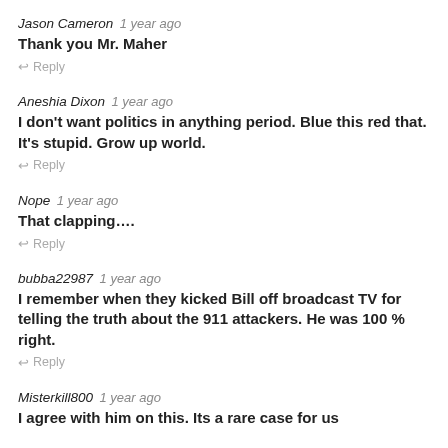Jason Cameron 1 year ago
Thank you Mr. Maher
Reply
Aneshia Dixon 1 year ago
I don't want politics in anything period. Blue this red that. It's stupid. Grow up world.
Reply
Nope 1 year ago
That clapping....
Reply
bubba22987 1 year ago
I remember when they kicked Bill off broadcast TV for telling the truth about the 911 attackers. He was 100 % right.
Reply
Misterkill800 1 year ago
I agree with him on this. Its a rare case for us